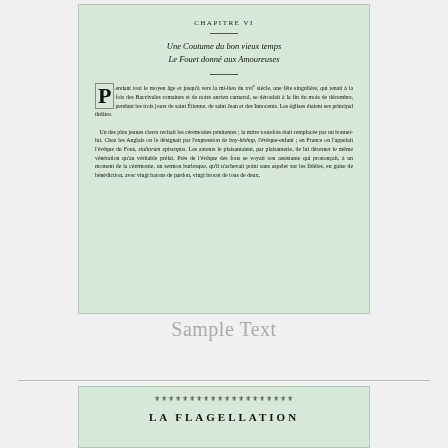[Figure (photo): Scanned book page showing Chapter VI header, chapter title 'Une Coutume du bon vieux temps / Le Fouet donné aux Amoureuses', with drop-cap initial 'P' and body text in French, printed on aged greenish paper.]
Sample Text
[Figure (photo): Bottom portion of a scanned book page showing a decorative ornament row and the title 'LA FLAGELLATION' on greenish paper.]